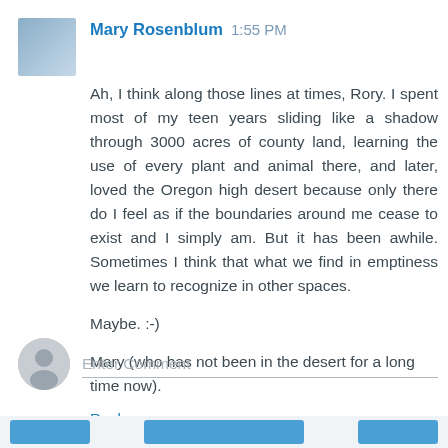Mary Rosenblum 1:55 PM
Ah, I think along those lines at times, Rory. I spent most of my teen years sliding like a shadow through 3000 acres of county land, learning the use of every plant and animal there, and later, loved the Oregon high desert because only there do I feel as if the boundaries around me cease to exist and I simply am. But it has been awhile. Sometimes I think that what we find in emptiness we learn to recognize in other spaces.
Maybe. :-)
Mary (who has not been in the desert for a long time now).
Reply
Enter Comment